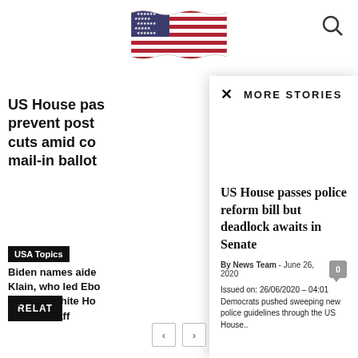[Figure (illustration): US flag waving, stylized illustration in red, white, and blue]
US House passes police reform bill but deadlock awaits in Senate
By News Team - June 26, 2020
Issued on: 26/06/2020 – 04:01 Democrats pushed sweeping new police guidelines through the US House..
MORE STORIES
US House pas… prevent post… cuts amid co… mail-in ballot
RELAT
USA Topics
Biden names aide… Klain, who led Ebo… fight, as White Ho… chief of staff